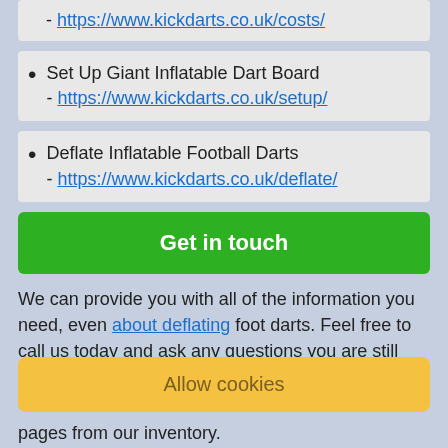- https://www.kickdarts.co.uk/costs/
Set Up Giant Inflatable Dart Board
- https://www.kickdarts.co.uk/setup/
Deflate Inflatable Football Darts
- https://www.kickdarts.co.uk/deflate/
Get in touch
We can provide you with all of the information you need, even about deflating foot darts. Feel free to call us today and ask any questions you are still unsure on and we will guarantee a swift response that
pages from our inventory.